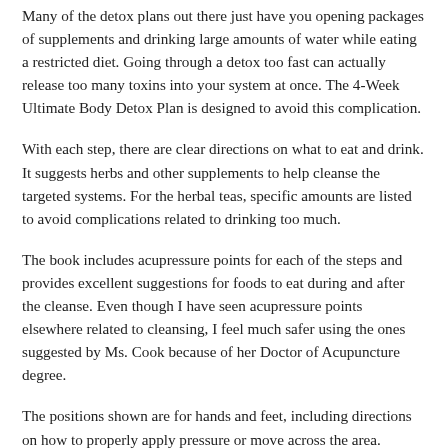Many of the detox plans out there just have you opening packages of supplements and drinking large amounts of water while eating a restricted diet. Going through a detox too fast can actually release too many toxins into your system at once. The 4-Week Ultimate Body Detox Plan is designed to avoid this complication.
With each step, there are clear directions on what to eat and drink. It suggests herbs and other supplements to help cleanse the targeted systems. For the herbal teas, specific amounts are listed to avoid complications related to drinking too much.
The book includes acupressure points for each of the steps and provides excellent suggestions for foods to eat during and after the cleanse. Even though I have seen acupressure points elsewhere related to cleansing, I feel much safer using the ones suggested by Ms. Cook because of her Doctor of Acupuncture degree.
The positions shown are for hands and feet, including directions on how to properly apply pressure or move across the area.